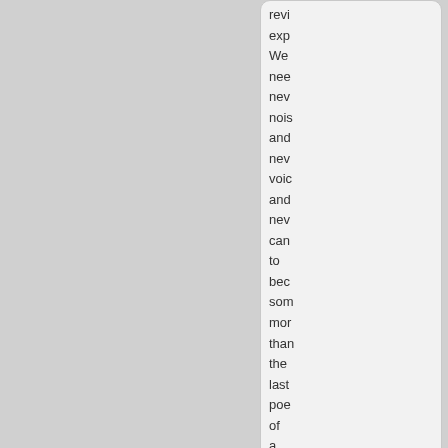revi
exp
We
nee
nev
nois
and
nev
voic
and
nev
can
to
bec
som
mor
than
the
last
poe
of
a
use
gen
[Figure (screenshot): A scrollable card/box with truncated text content on the right side of the page, with a scroll-up indicator button at the bottom right]
[Figure (screenshot): A second card below with an EX-NATION image thumbnail on the left, a QUOTE button (red) at top right with quotation mark, a document icon, 'by' text, and 'Frinskalla' in orange]